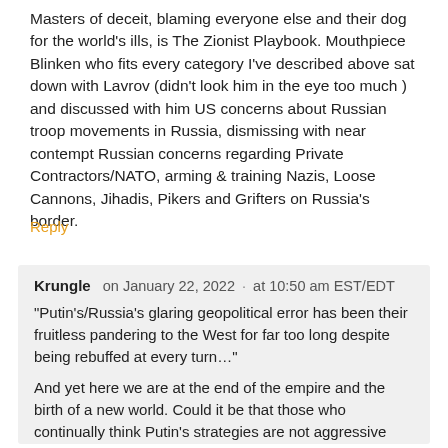Masters of deceit, blaming everyone else and their dog for the world's ills, is The Zionist Playbook. Mouthpiece Blinken who fits every category I've described above sat down with Lavrov (didn't look him in the eye too much ) and discussed with him US concerns about Russian troop movements in Russia, dismissing with near contempt Russian concerns regarding Private Contractors/NATO, arming & training Nazis, Loose Cannons, Jihadis, Pikers and Grifters on Russia's border.
Reply
Krungle   on January 22, 2022  ·  at 10:50 am EST/EDT
“Putin’s/Russia’s glaring geopolitical error has been their fruitless pandering to the West for far too long despite being rebuffed at every turn…”
And yet here we are at the end of the empire and the birth of a new world. Could it be that those who continually think Putin’s strategies are not aggressive enough are not looking at the long game, and/or have expectations that multi-vector, complex geopolitics should always progress in a linear fashion?